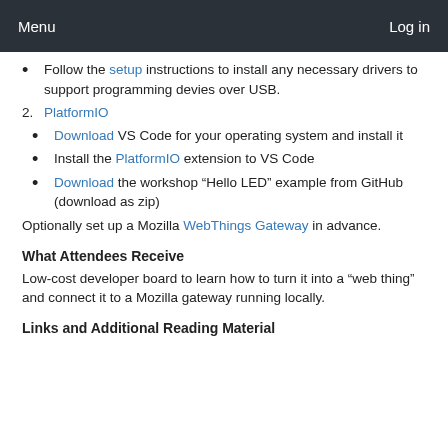Menu  Log in
Follow the setup instructions to install any necessary drivers to support programming devies over USB.
2. PlatformIO
Download VS Code for your operating system and install it
Install the PlatformIO extension to VS Code
Download the workshop “Hello LED” example from GitHub (download as zip)
Optionally set up a Mozilla WebThings Gateway in advance.
What Attendees Receive
Low-cost developer board to learn how to turn it into a “web thing” and connect it to a Mozilla gateway running locally.
Links and Additional Reading Material